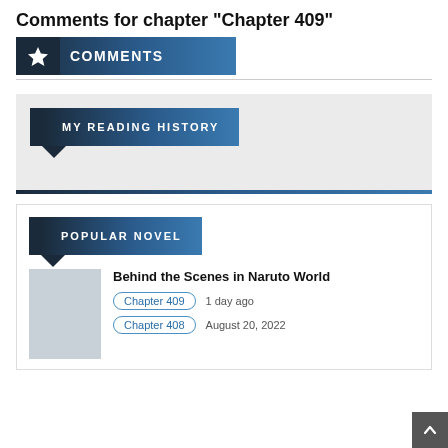Comments for chapter "Chapter 409"
COMMENTS
[Figure (other): My Reading History panel with gradient banner and bottom accent line]
[Figure (other): Popular Novel panel with gradient banner, novel cover placeholder, title, and chapter links]
Behind the Scenes in Naruto World
Chapter 409   1 day ago
Chapter 408   August 20, 2022